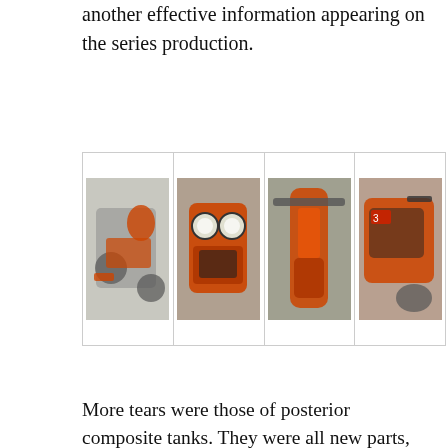another effective information appearing on the series production.
[Figure (photo): Four photos of motorcycle/racing bike parts and damage from different angles, shown in a 1×4 grid with light border.]
More tears were those of posterior composite tanks. They were all new parts, ended up at practice the day before leaving the tanks have had mechanical problems. The rear suspension dabbed a little' Too much, so as to touch the disc brake caliper with the inside of the tanks. In the design phase we predicted a game 20 mm between the clamp and tank at full travel of the rear wheel. In bolder touched caliper infill; with inevitable breakups. This means that both the swingarm is the retaining frame that sustains them yielded, sagged